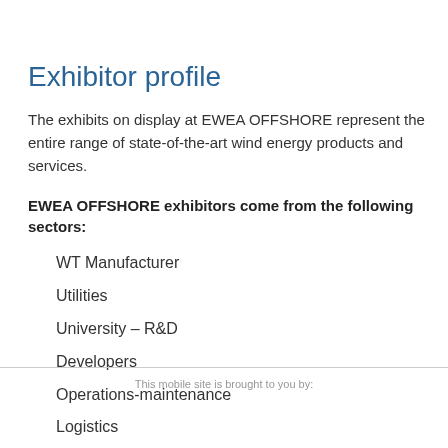Exhibitor profile
The exhibits on display at EWEA OFFSHORE represent the entire range of state-of-the-art wind energy products and services.
EWEA OFFSHORE exhibitors come from the following sectors:
WT Manufacturer
Utilities
University – R&D
Developers
Operations-maintenance
Logistics
This mobile site is brought to you by: